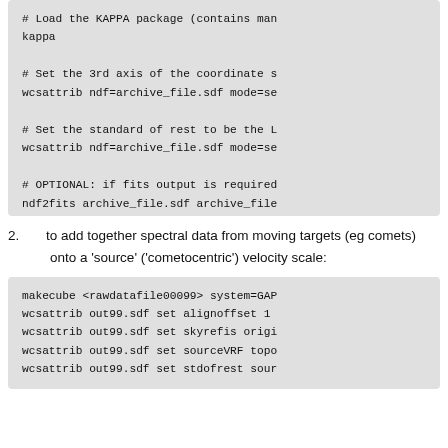[Figure (other): Code block showing kappa load and wcsattrib/ndf2fits commands (top portion, partially visible at top of page)]
2. to add together spectral data from moving targets (eg comets)
onto a 'source' ('cometocentric') velocity scale:
[Figure (other): Code block showing makecube, wcsattrib commands for cometocentric velocity scale]